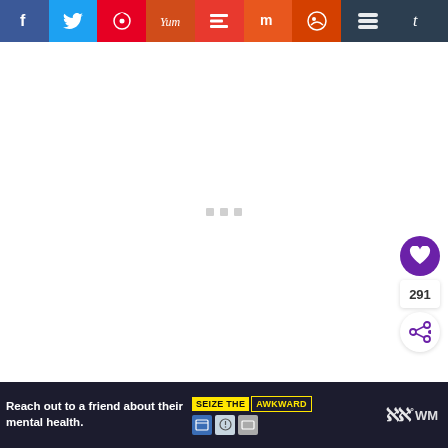[Figure (screenshot): Social media share bar with icons for Facebook, Twitter, Pinterest, Yummly, Flipboard, Mix, Reddit, Buffer, and Tumblr]
[Figure (screenshot): White content area with loading dots indicator in the center, and a side panel showing a heart/like button (purple), count of 291, and a share button]
[Figure (screenshot): Advertisement banner: 'Reach out to a friend about their mental health.' with 'SEIZE THE AWKWARD' branding and ad disclosure icons, plus a W logo on the right]